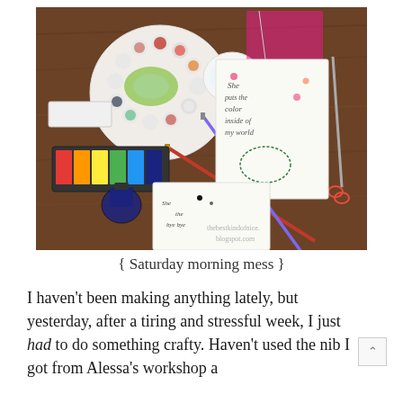[Figure (photo): Overhead photo of a crafting workspace on a wooden table. Items include a white paint palette with colorful paints and green paint smear, paintbrushes (red and purple handles), a white ceramic bowl with water, a rectangular watercolor paint set with rainbow colors, a dark ink bottle, two handmade calligraphy cards (one with floral decoration reading 'she puts the color inside of my world', one with calligraphy practice), a pink cutting mat, and scissors. Watermark reads 'thebestkindofnice.blogspot.com'.]
{ Saturday morning mess }
I haven't been making anything lately, but yesterday, after a tiring and stressful week, I just had to do something crafty. Haven't used the nib I got from Alessa's workshop a